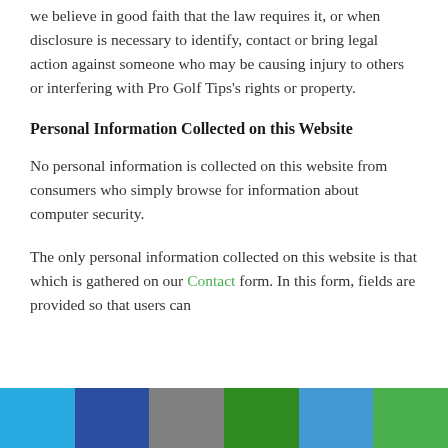we believe in good faith that the law requires it, or when disclosure is necessary to identify, contact or bring legal action against someone who may be causing injury to others or interfering with Pro Golf Tips's rights or property.
Personal Information Collected on this Website
No personal information is collected on this website from consumers who simply browse for information about computer security.
The only personal information collected on this website is that which is gathered on our Contact form. In this form, fields are provided so that users can